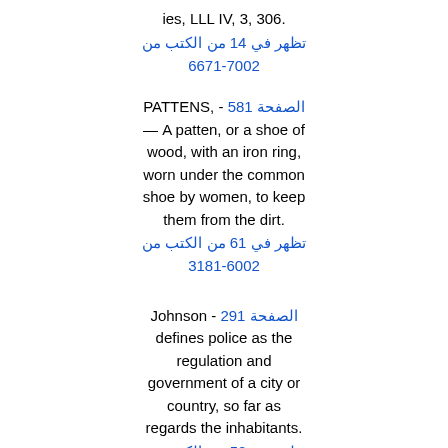ies, LLL IV, 3, 306.
تظهر في 41 من الكتب من 1766-2007
PATTENS, - الصفحة 185 — A patten, or a shoe of wood, with an iron ring, worn under the common shoe by women, to keep them from the dirt.
تظهر في 16 من الكتب من 1813-2006
Johnson - الصفحة 192 defines police as the regulation and government of a city or country, so far as regards the inhabitants.
تظهر في 25 من الكتب من 1814-2008
Quarantine - الصفحة 204